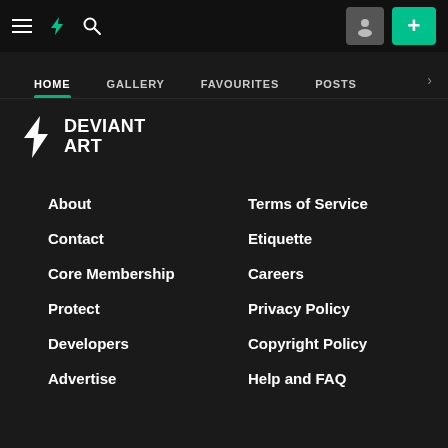[Figure (screenshot): DeviantArt website top navigation bar with hamburger menu, DA lightning bolt logo, search icon, user icon button, and green plus button]
HOME   GALLERY   FAVOURITES   POSTS
[Figure (logo): DeviantArt logo with lightning bolt icon and text DEVIANT ART]
About
Terms of Service
Contact
Etiquette
Core Membership
Careers
Protect
Privacy Policy
Developers
Copyright Policy
Advertise
Help and FAQ